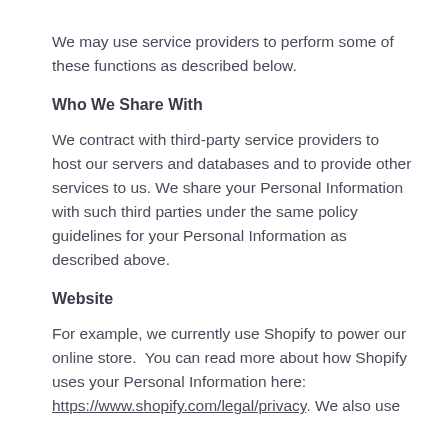We may use service providers to perform some of these functions as described below.
Who We Share With
We contract with third-party service providers to host our servers and databases and to provide other services to us. We share your Personal Information with such third parties under the same policy guidelines for your Personal Information as described above.
Website
For example, we currently use Shopify to power our online store.  You can read more about how Shopify uses your Personal Information here: https://www.shopify.com/legal/privacy. We also use